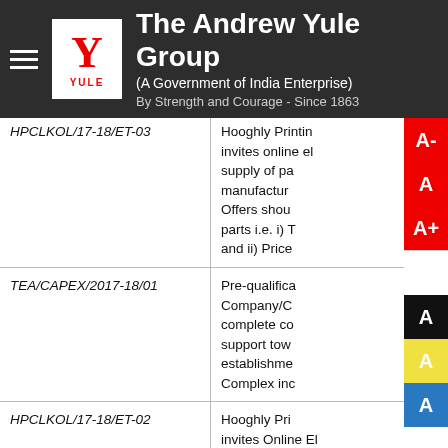The Andrew Yule Group (A Government of India Enterprise) By Strength and Courage - Since 1863
| Reference | Description |
| --- | --- |
| HPCLKOL/17-18/ET-03 | Hooghly Printing invites online el... supply of pa... manufactur... Offers shou... parts i.e. i) T... and ii) Price... |
| TEA/CAPEX/2017-18/01 | Pre-qualifica... Company/C... complete co... support tow... establishme... Complex inc... |
| HPCLKOL/17-18/ET-02 | Hooghly Pri... invites Online El... experienced Pri... Printing &Bindir... through Contra... Operated mach... |